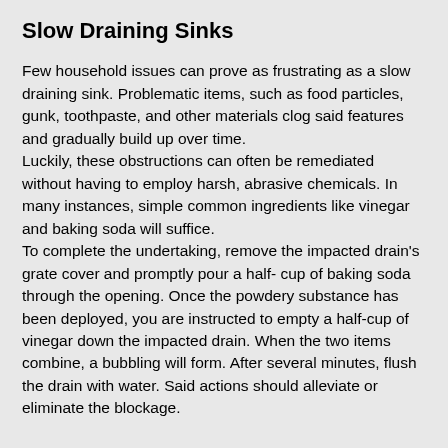Slow Draining Sinks
Few household issues can prove as frustrating as a slow draining sink. Problematic items, such as food particles, gunk, toothpaste, and other materials clog said features and gradually build up over time.
Luckily, these obstructions can often be remediated without having to employ harsh, abrasive chemicals. In many instances, simple common ingredients like vinegar and baking soda will suffice.
To complete the undertaking, remove the impacted drain's grate cover and promptly pour a half- cup of baking soda through the opening. Once the powdery substance has been deployed, you are instructed to empty a half-cup of vinegar down the impacted drain. When the two items combine, a bubbling will form. After several minutes, flush the drain with water. Said actions should alleviate or eliminate the blockage.